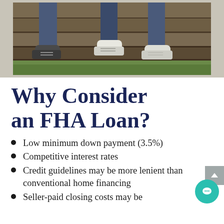[Figure (photo): Photo showing legs and sneakers of people sitting on wooden steps/boards, with grass visible at the bottom]
Why Consider an FHA Loan?
Low minimum down payment (3.5%)
Competitive interest rates
Credit guidelines may be more lenient than conventional home financing
Seller-paid closing costs may be